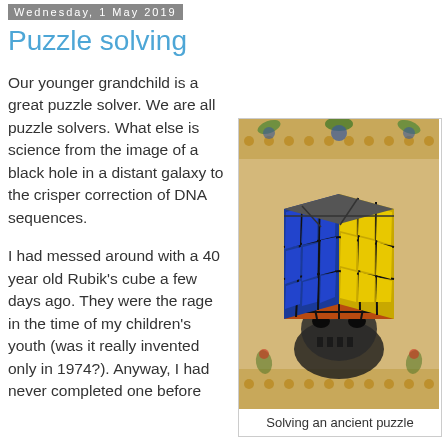Wednesday, 1 May 2019
Puzzle solving
Our younger grandchild is a great puzzle solver. We are all puzzle solvers. What else is science from the image of a black hole in a distant galaxy to the crisper correction of DNA sequences.
I had messed around with a 40 year old Rubik's cube a few days ago. They were the rage in the time of my children's youth (was it really invented only in 1974?). Anyway, I had never completed one before
[Figure (photo): A Rubik's cube (blue and yellow faces visible) sitting on top of a decorative skull, placed on a floral tapestry/carpet background.]
Solving an ancient puzzle